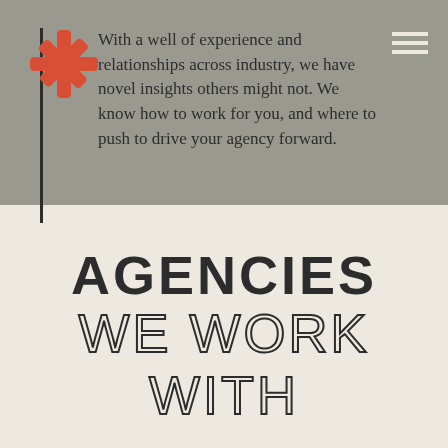[Figure (logo): Red asterisk logo in the top-left of the header bar]
With a well of experience and relationships across industry, we have novel insights others might not. We know how to work for you, and where to push to drive your agency forward.
AGENCIES WE WORK WITH